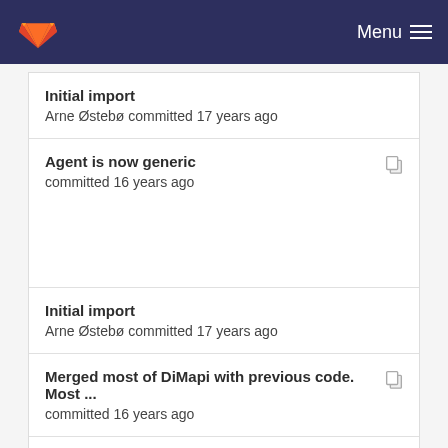Menu
Initial import
Arne Østebø committed 17 years ago
Agent is now generic
committed 16 years ago
Initial import
Arne Østebø committed 17 years ago
Merged most of DiMapi with previous code. Most ...
committed 16 years ago
Initial import
Arne Østebø committed 17 years ago